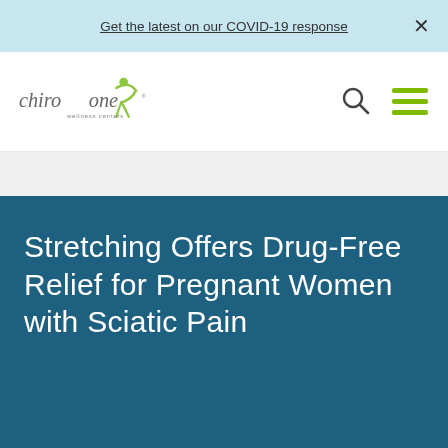Get the latest on our COVID-19 response ×
[Figure (logo): Chiro One Wellness Centers logo with green figure icon]
Stretching Offers Drug-Free Relief for Pregnant Women with Sciatic Pain